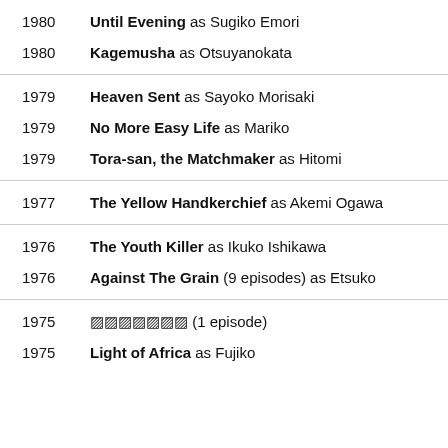1980  Until Evening as Sugiko Emori
1980  Kagemusha as Otsuyanokata
1979  Heaven Sent as Sayoko Morisaki
1979  No More Easy Life as Mariko
1979  Tora-san, the Matchmaker as Hitomi
1977  The Yellow Handkerchief as Akemi Ogawa
1976  The Youth Killer as Ikuko Ishikawa
1976  Against The Grain (9 episodes) as Etsuko
1975  ▪▪▪▪▪▪▪ (1 episode)
1975  Light of Africa as Fujiko